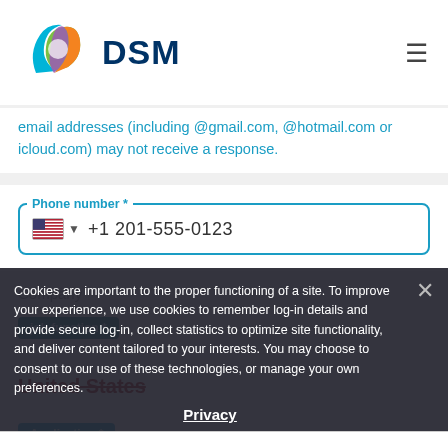DSM
email addresses (including @gmail.com, @hotmail.com or icloud.com) may not receive a response.
Phone number *
+1 201-555-0123
Cookies are important to the proper functioning of a site. To improve your experience, we use cookies to remember log-in details and provide secure log-in, collect statistics to optimize site functionality, and deliver content tailored to your interests. You may choose to consent to our use of these technologies, or manage your own preferences.
Privacy
ACCEPT ALL
DECLINE ALL
MANAGE SETTINGS